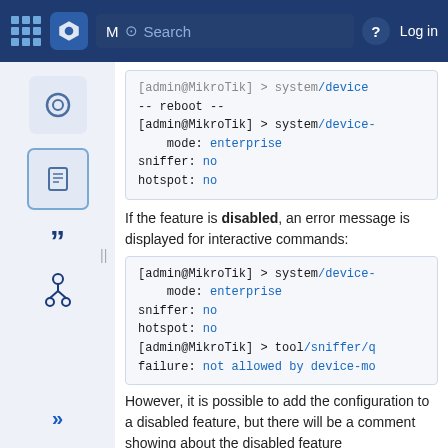MikroTik Wiki navigation header with search and login
[Figure (screenshot): MikroTik wiki navigation bar with grid icon, logo, search bar, help icon, and Log in link]
[admin@MikroTik] > system/device-
-- reboot --
[admin@MikroTik] > system/device-
    mode: enterprise
sniffer: no
hotspot: no
If the feature is disabled, an error message is displayed for interactive commands:
[admin@MikroTik] > system/device-
    mode: enterprise
sniffer: no
hotspot: no
[admin@MikroTik] > tool/sniffer/q
failure: not allowed by device-mo
However, it is possible to add the configuration to a disabled feature, but there will be a comment showing about the disabled feature